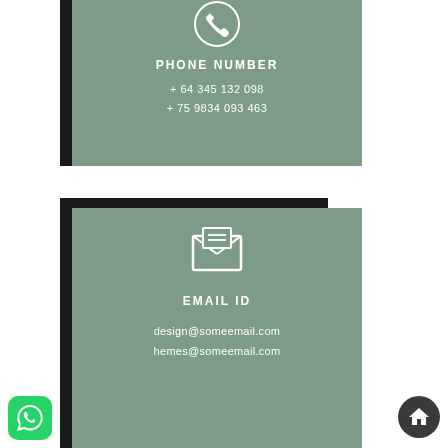[Figure (infographic): Phone number contact card on sage green background with phone icon, showing PHONE NUMBER label and two phone numbers]
PHONE NUMBER
+ 64 345 132 098
+ 75 9834 093 463
[Figure (infographic): Email ID contact card on sage green background with envelope icon, showing EMAIL ID label and two email addresses]
EMAIL ID
design@someemail.com
hemes@someemail.com